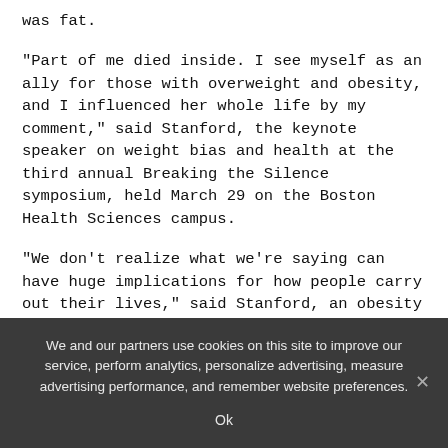was fat.
“Part of me died inside. I see myself as an ally for those with overweight and obesity, and I influenced her whole life by my comment,” said Stanford, the keynote speaker on weight bias and health at the third annual Breaking the Silence symposium, held March 29 on the Boston Health Sciences campus.
“We don’t realize what we’re saying can have huge implications for how people carry out their lives,” said Stanford, an obesity medicine physician at the Massachusetts General Hospital’s Weight Center. That lesson informed her talk, using the terms “people with overweight” and “people with obesity” instead of
We and our partners use cookies on this site to improve our service, perform analytics, personalize advertising, measure advertising performance, and remember website preferences.
Ok